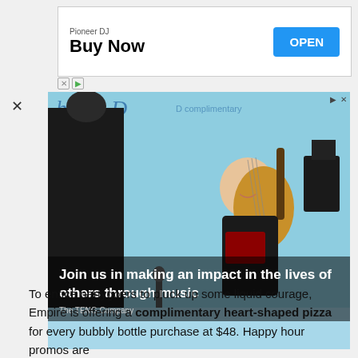[Figure (screenshot): Top advertisement banner for Pioneer DJ with 'Buy Now' text and blue OPEN button]
[Figure (photo): Advertisement photo showing a smiling musician playing a lute/pipa instrument at an event. Overlay text reads: 'Join us in making an impact in the lives of others through music' with 'The TENG Company' credit.]
To entice partygoers to pluck up some liquid courage, Empire is offering a complimentary heart-shaped pizza for every bubbly bottle purchase at $48. Happy hour promos are